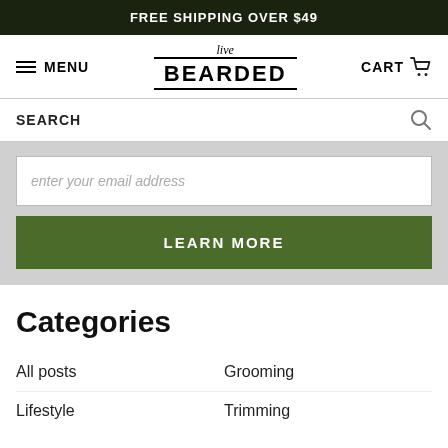FREE SHIPPING OVER $49
[Figure (screenshot): Live Bearded logo with 'live' in italic script above and 'BEARDED' in bold block letters below, framed by horizontal lines]
MENU
CART
SEARCH
enter your email address
LEARN MORE
Categories
All posts
Grooming
Lifestyle
Trimming